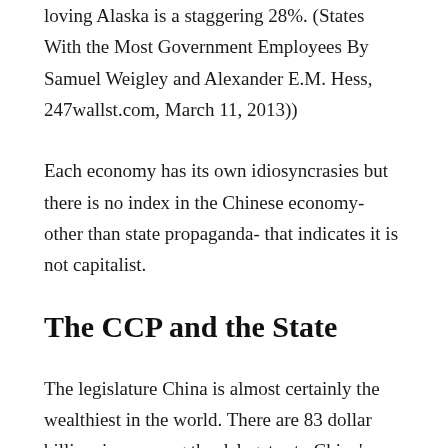loving Alaska is a staggering 28%. (States With the Most Government Employees By Samuel Weigley and Alexander E.M. Hess, 247wallst.com, March 11, 2013))
Each economy has its own idiosyncrasies but there is no index in the Chinese economy- other than state propaganda- that indicates it is not capitalist.
The CCP and the State
The legislature China is almost certainly the wealthiest in the world. There are 83 dollar billionaires among the delegates to China's parliament. 90% of Chinese billionaires are